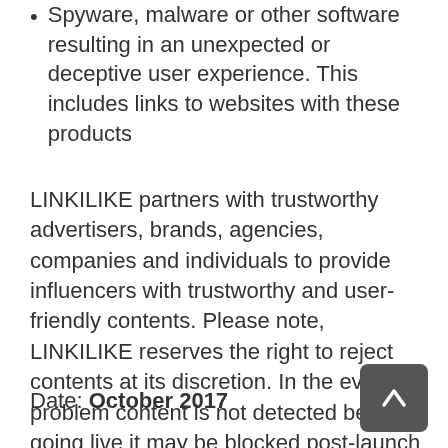Spyware, malware or other software resulting in an unexpected or deceptive user experience. This includes links to websites with these products
LINKILIKE partners with trustworthy advertisers, brands, agencies, companies and individuals to provide influencers with trustworthy and user-friendly contents. Please note, LINKILIKE reserves the right to reject contents at its discretion. In the event problem content is not detected before going live it may be blocked post-launch if it jeopardises the security, trustworthiness and/or quality of the network.
Date: October 2017